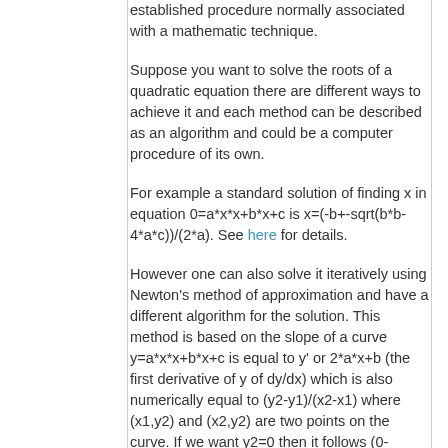established procedure normally associated with a mathematic technique.
Suppose you want to solve the roots of a quadratic equation there are different ways to achieve it and each method can be described as an algorithm and could be a computer procedure of its own.
For example a standard solution of finding x in equation 0=a*x*x+b*x+c is x=(-b+-sqrt(b*b-4*a*c))/(2*a). See here for details.
However one can also solve it iteratively using Newton's method of approximation and have a different algorithm for the solution. This method is based on the slope of a curve y=a*x*x+b*x+c is equal to y' or 2*a*x+b (the first derivative of y of dy/dx) which is also numerically equal to (y2-y1)/(x2-x1) where (x1,y2) and (x2,y2) are two points on the curve. If we want y2=0 then it follows (0-y1)/(x2-x1)=y' so x2=x1-y1/y'. Putting any x1, compute y1 and y' will yield a new x2. The procedure is repeated until the improvement become insignificant and latest x2 is one of the root. A full explanation is given here.
A third method is by trial and error. If you know x lies within a range you can try it with a loop by searching the entire range. The one producing